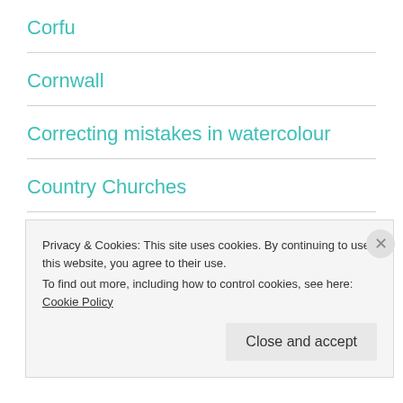Corfu
Cornwall
Correcting mistakes in watercolour
Country Churches
Country House Hotels
Country Houses
Privacy & Cookies: This site uses cookies. By continuing to use this website, you agree to their use.
To find out more, including how to control cookies, see here: Cookie Policy
Close and accept